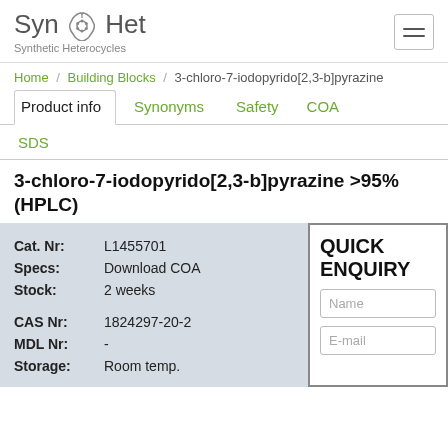SynHet Synthetic Heterocycles
Home / Building Blocks / 3-chloro-7-iodopyrido[2,3-b]pyrazine
Product info | Synonyms | Safety | COA | SDS
3-chloro-7-iodopyrido[2,3-b]pyrazine >95% (HPLC)
| Field | Value |
| --- | --- |
| Cat. Nr: | L1455701 |
| Specs: | Download COA |
| Stock: | 2 weeks |
| CAS Nr: | 1824297-20-2 |
| MDL Nr: | - |
| Storage: | Room temp. |
QUICK ENQUIRY
Name
E-mail